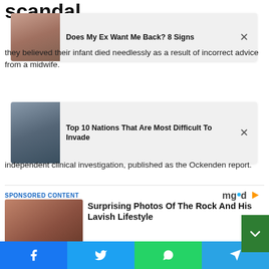scandal.
[Figure (other): Popup ad card: woman drinking, title 'Does My Ex Want Me Back? 8 Signs']
they believed their infant died needlessly as a result of incorrect advice from a midwife.
[Figure (other): Popup ad card: military parade, title 'Top 10 Nations That Are Most Difficult To Invade']
independent clinical investigation, published as the Ockenden report.
SPONSORED CONTENT
[Figure (photo): Sponsored content photo: Dwayne The Rock Johnson at event in black tuxedo]
Surprising Photos Of The Rock And His Lavish Lifestyle
Brainberries
Dua's Seen Grinding On